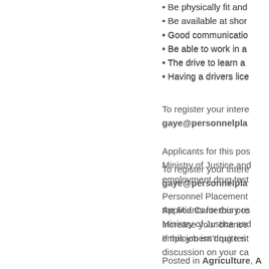• Be physically fit and…
• Be available at shor…
• Good communicatio…
• Be able to work in a…
• The drive to learn a…
• Having a drivers lice…
To register your intere… gaye@personnelpla…
Applicants for this pos… Ministry of Justice an… employment drug test…
Personnel Placement… the Mid Canterbury r… increase your chance…
If this job isn't quite ri… discussion on your ca…
Posted in Agriculture, A…